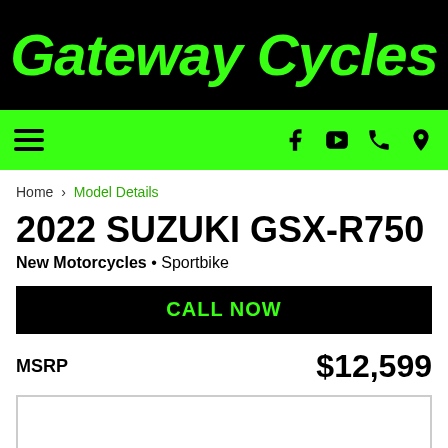[Figure (logo): Gateway Cycles logo in green italic text on black background]
Navigation bar with hamburger menu and social/contact icons (Facebook, YouTube, Phone, Location)
Home › Model Details
2022 SUZUKI GSX-R750
New Motorcycles • Sportbike
CALL NOW
MSRP $12,599
[Figure (photo): Empty white image placeholder box]